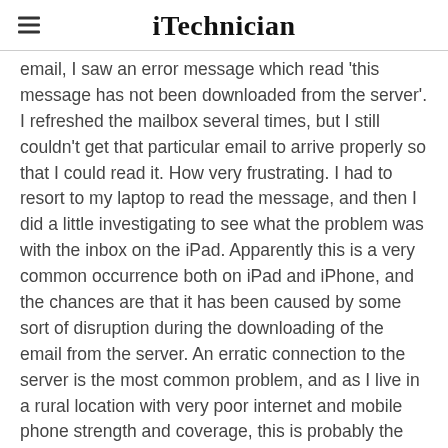iTechnician
email, I saw an error message which read 'this message has not been downloaded from the server'. I refreshed the mailbox several times, but I still couldn't get that particular email to arrive properly so that I could read it. How very frustrating. I had to resort to my laptop to read the message, and then I did a little investigating to see what the problem was with the inbox on the iPad. Apparently this is a very common occurrence both on iPad and iPhone, and the chances are that it has been caused by some sort of disruption during the downloading of the email from the server. An erratic connection to the server is the most common problem, and as I live in a rural location with very poor internet and mobile phone strength and coverage, this is probably the cause of most of my failures to receive emails on my iPad. If this is not the cause of your own email download issues, there are a few more things that you can check if the problem keeps happening.
Continue reading →